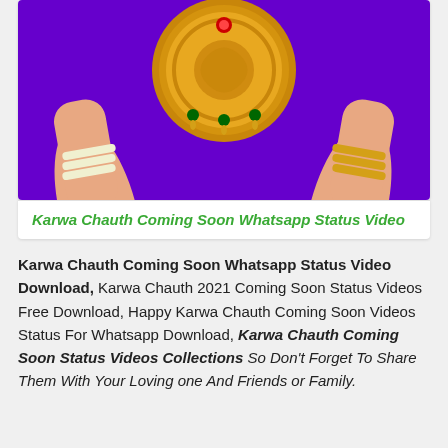[Figure (illustration): Illustration of hands holding a decorative golden plate/thali on a purple background, with bangles and ornaments, for Karwa Chauth festival]
Karwa Chauth Coming Soon Whatsapp Status Video
Karwa Chauth Coming Soon Whatsapp Status Video Download, Karwa Chauth 2021 Coming Soon Status Videos Free Download, Happy Karwa Chauth Coming Soon Videos Status For Whatsapp Download, Karwa Chauth Coming Soon Status Videos Collections So Don't Forget To Share Them With Your Loving one And Friends or Family.